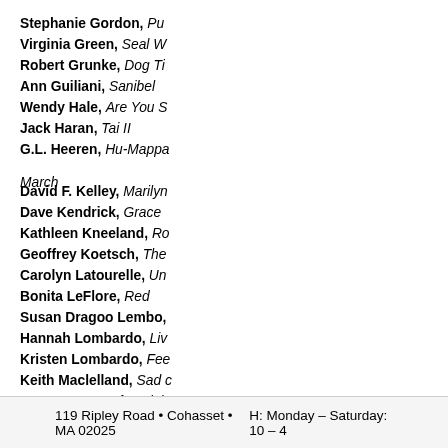Stephanie Gordon, [title truncated]
Virginia Green, Seal W[atcher truncated]
Robert Grunke, Dog Ti[me truncated]
Ann Guiliani, Sanibel [truncated]
Wendy Hale, Are You S[truncated]
Jack Haran, Tai II
G.L. Heeren, Hu-Mappa[truncated] March
David F. Kelley, Marilyn [truncated]
Dave Kendrick, Grace [truncated]
Kathleen Kneeland, Ro[truncated]
Geoffrey Koetsch, The[truncated]
Carolyn Latourelle, Un[truncated]
Bonita LeFlore, Red [truncated]
Susan Dragoo Lembo, [truncated]
Hannah Lombardo, Liv[truncated]
Kristen Lombardo, Fee[truncated]
Keith Maclelland, Sad c[truncated]
Dan McCormack, Adel[truncated]
Images starting from top [truncated] Coyboy, Keith Macllellan[truncated]
119 Ripley Road • Cohasset • MA 02025    H: Monday – Saturday: 10 – 4